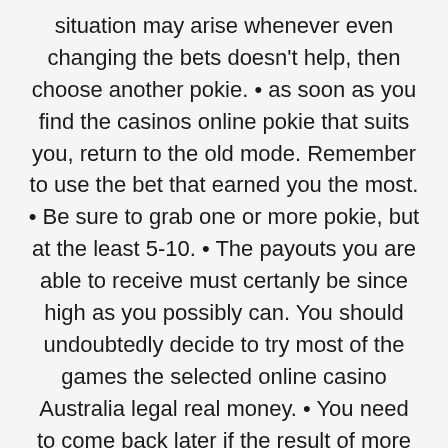situation may arise whenever even changing the bets doesn't help, then choose another pokie. • as soon as you find the casinos online pokie that suits you, return to the old mode. Remember to use the bet that earned you the most. • Be sure to grab one or more pokie, but at the least 5-10. • The payouts you are able to receive must certanly be since high as you possibly can. You should undoubtedly decide to try most of the games the selected online casino Australia legal real money. • You need to come back later if the result of more than two slot machines is a loss. • You might not also be aware of this, however the outcome of the game normally affected by the amount of money that is in your game account and the amount you have bet. often there is a great chance of winning with a little bankroll. Experts say that for a good game, you must